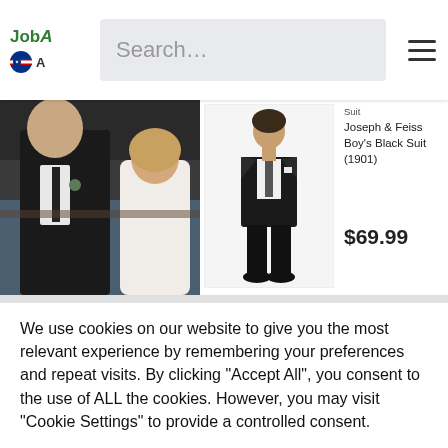JobA A | Search...
[Figure (photo): Wedding couple photo on the left; boy in black suit product image on the right]
Suit
Joseph & Feiss Boy's Black Suit (1901)
$69.99
We use cookies on our website to give you the most relevant experience by remembering your preferences and repeat visits. By clicking "Accept All", you consent to the use of ALL the cookies. However, you may visit "Cookie Settings" to provide a controlled consent.
Cookie Settings | Accept All